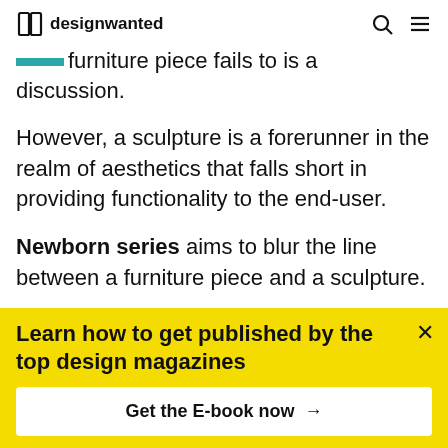designwanted
furniture piece fails to is a discussion.
However, a sculpture is a forerunner in the realm of aesthetics that falls short in providing functionality to the end-user.
Newborn series aims to blur the line between a furniture piece and a sculpture.
[Figure (photo): Black image strip at the bottom of article content]
Learn how to get published by the top design magazines
Get the E-book now →